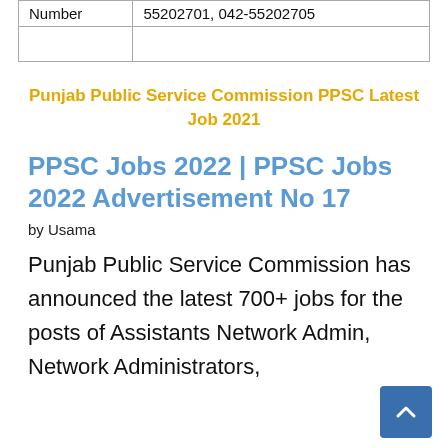| Number | 55202701, 042-55202705 |
| --- | --- |
|  |  |
Punjab Public Service Commission PPSC Latest Job 2021
PPSC Jobs 2022 | PPSC Jobs 2022 Advertisement No 17
by Usama
Punjab Public Service Commission has announced the latest 700+ jobs for the posts of Assistants Network Admin, Network Administrators,